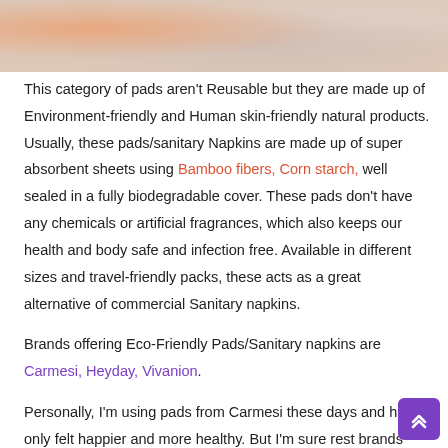[Figure (photo): Partial view of sanitary pads/napkins product at the top of the page]
This category of pads aren't Reusable but they are made up of Environment-friendly and Human skin-friendly natural products. Usually, these pads/sanitary Napkins are made up of super absorbent sheets using Bamboo fibers, Corn starch, well sealed in a fully biodegradable cover. These pads don't have any chemicals or artificial fragrances, which also keeps our health and body safe and infection free. Available in different sizes and travel-friendly packs, these acts as a great alternative of commercial Sanitary napkins.
Brands offering Eco-Friendly Pads/Sanitary napkins are Carmesi, Heyday, Vivanion.
Personally, I'm using pads from Carmesi these days and have only felt happier and more healthy. But I'm sure rest brands